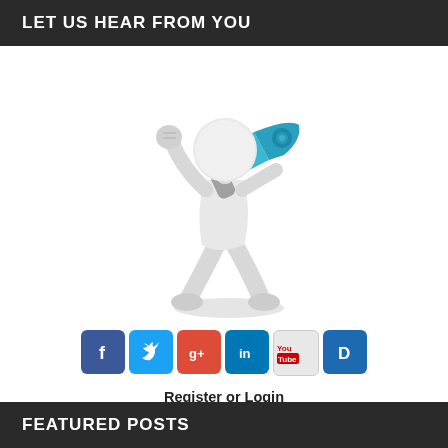LET US HEAR FROM YOU
[Figure (illustration): 3D white figure/character holding a blue megaphone in one hand and raising a fist in the other hand, speaking or announcing.]
[Figure (infographic): Row of social media icons: Facebook (blue f), Twitter (blue bird), Google+ (blue g+), LinkedIn (blue in), YouTube (red/white You Tube), Digg (blue D)]
Register or Login
to Share Your Thoughts
FEATURED POSTS